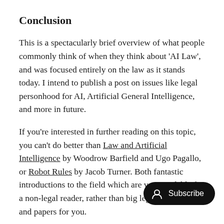Conclusion
This is a spectacularly brief overview of what people commonly think of when they think about 'AI Law', and was focused entirely on the law as it stands today. I intend to publish a post on issues like legal personhood for AI, Artificial General Intelligence, and more in future.
If you're interested in further reading on this topic, you can't do better than Law and Artificial Intelligence by Woodrow Barfield and Ugo Pagallo, or Robot Rules by Jacob Turner. Both fantastic introductions to the field which are very readable for a non-legal reader, rather than big legal textbooks and papers for you.